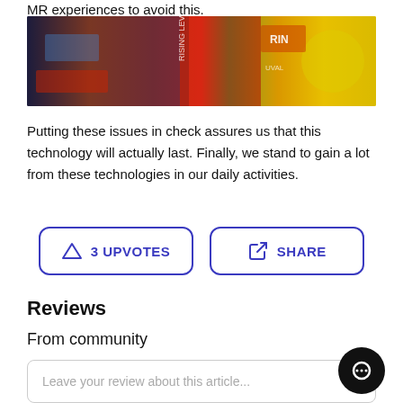MR experiences to avoid this.
[Figure (photo): Colorful collage of magazine covers and product packaging with vivid reds, oranges, greens, and yellows.]
Putting these issues in check assures us that this technology will actually last. Finally, we stand to gain a lot from these technologies in our daily activities.
3 UPVOTES
SHARE
Reviews
From community
Leave your review about this article...